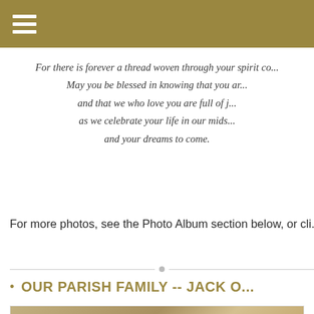Navigation menu header bar
For there is forever a thread woven through your spirit co...
May you be blessed in knowing that you ar...
and that we who love you are full of j...
as we celebrate your life in our mids...
and your dreams to come.
For more photos,  see the Photo Album section below, or cli...
OUR PARISH FAMILY -- JACK O...
[Figure (photo): Photo of clergy in a church ceremony, showing a man bending forward near a bishop or cardinal wearing ornate gold vestments and a mitre hat, inside a stone church.]